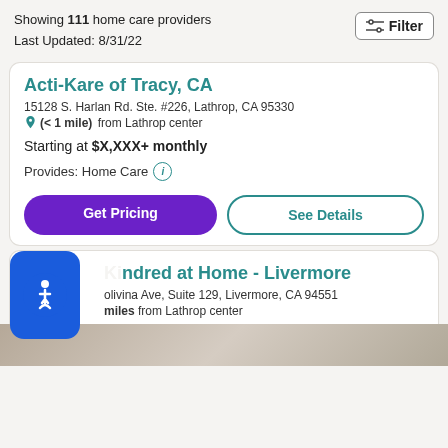Showing 111 home care providers
Last Updated: 8/31/22
Filter
Acti-Kare of Tracy, CA
15128 S. Harlan Rd. Ste. #226, Lathrop, CA 95330
(< 1 mile) from Lathrop center
Starting at $X,XXX+ monthly
Provides: Home Care
Get Pricing
See Details
Kindred at Home - Livermore
olivina Ave, Suite 129, Livermore, CA 94551
miles from Lathrop center
Starting at $X,XXX+ monthly